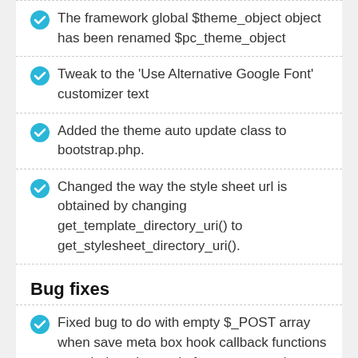The framework global $theme_object object has been renamed $pc_theme_object
Tweak to the 'Use Alternative Google Font' customizer text
Added the theme auto update class to bootstrap.php.
Changed the way the style sheet url is obtained by changing get_template_directory_uri() to get_stylesheet_directory_uri().
Bug fixes
Fixed bug to do with empty $_POST array when save meta box hook callback functions were being triggered after a new post/page is created.
Members-area widget area widgets were not